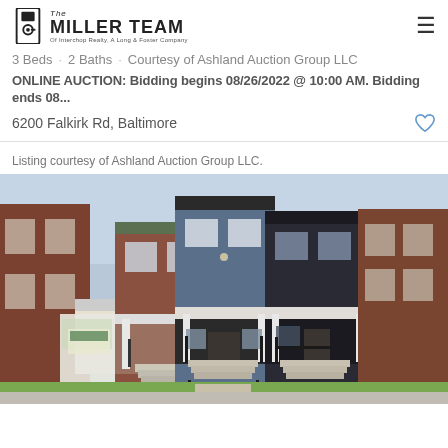[Figure (logo): The Miller Team logo — doorknob icon with text 'The MILLER TEAM of Interchop Realty, A Long & Foster Company']
3 Beds · 2 Baths · Courtesy of Ashland Auction Group LLC
ONLINE AUCTION: Bidding begins 08/26/2022 @ 10:00 AM. Bidding ends 08...
6200 Falkirk Rd, Baltimore
Listing courtesy of Ashland Auction Group LLC.
[Figure (photo): Exterior photo of 6200 Falkirk Rd, Baltimore — a row of townhomes, center home painted blue with black railings and steps, flanked by brick homes, green lawn in foreground.]